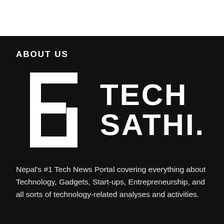ABOUT US
[Figure (logo): Tech Sathi logo: a stylized angular 'G' or bracket shape in white on black background, alongside the text TECH SATHI. in bold white letters]
Nepal's #1 Tech News Portal covering everything about Technology, Gadgets, Start-ups, Entrepreneurship, and all sorts of technology-related analyses and activities.